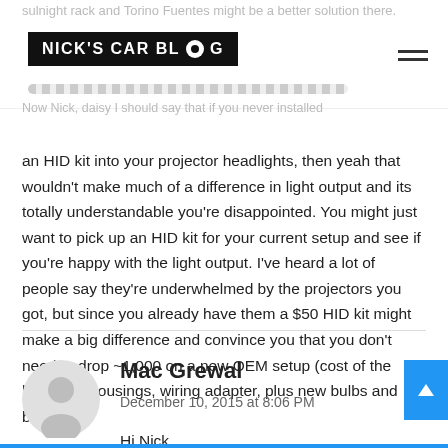Nick's Car Blog
an HID kit into your projector headlights, then yeah that wouldn't make much of a difference in light output and its totally understandable you're disappointed. You might just want to pick up an HID kit for your current setup and see if you're happy with the light output. I've heard a lot of people say they're underwhelmed by the projectors you got, but since you already have them a $50 HID kit might make a big difference and convince you that you don't need to drop ~1,000 on a new OEM setup (cost of the headlight housings, wiring adapter, plus new bulbs and ballasts).
Mac Grewal
December 10, 2015 at 8:06 PM
Hi Nick,